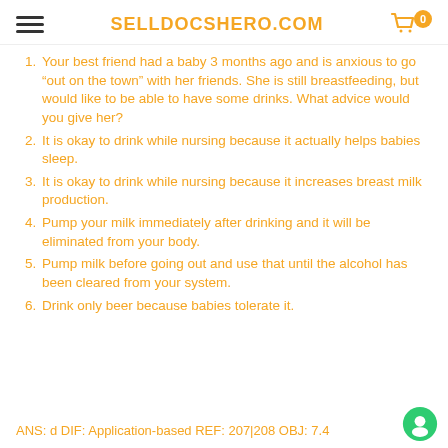SELLDOCSHERO.COM
Your best friend had a baby 3 months ago and is anxious to go “out on the town” with her friends. She is still breastfeeding, but would like to be able to have some drinks. What advice would you give her?
It is okay to drink while nursing because it actually helps babies sleep.
It is okay to drink while nursing because it increases breast milk production.
Pump your milk immediately after drinking and it will be eliminated from your body.
Pump milk before going out and use that until the alcohol has been cleared from your system.
Drink only beer because babies tolerate it.
ANS: d DIF: Application-based REF: 207|208 OBJ: 7.4